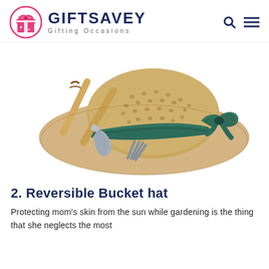GIFTSAVEY — Gifting Occasions
[Figure (photo): A wide-brim woven straw sun hat with a dark teal/green ribbon band and bow, with two garden hand tools (trowel and cultivator fork with wooden handles) resting on top of the hat, on a white background.]
2. Reversible Bucket hat
Protecting mom's skin from the sun while gardening is the thing that she neglects the most